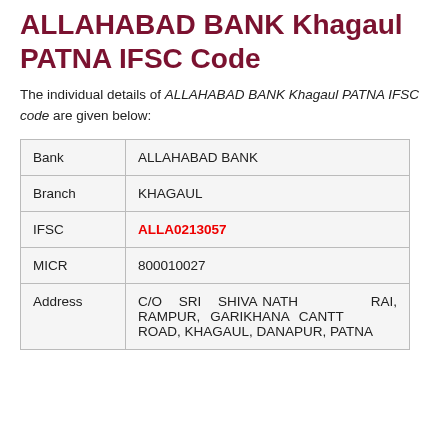ALLAHABAD BANK Khagaul PATNA IFSC Code
The individual details of ALLAHABAD BANK Khagaul PATNA IFSC code are given below:
| Field | Value |
| --- | --- |
| Bank | ALLAHABAD BANK |
| Branch | KHAGAUL |
| IFSC | ALLA0213057 |
| MICR | 800010027 |
| Address | C/O SRI SHIVA NATH RAI, RAMPUR, GARIKHANA CANTT ROAD, KHAGAUL, DANAPUR, PATNA |